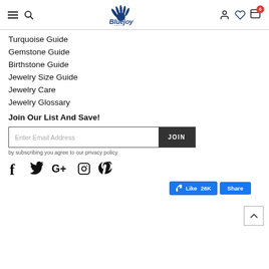Bluejoy Native - header navigation
Turquoise Guide
Gemstone Guide
Birthstone Guide
Jewelry Size Guide
Jewelry Care
Jewelry Glossary
Join Our List And Save!
Enter Email Address [JOIN button]
by subscribing you agree to our privacy policy
[Figure (infographic): Social media icons: Facebook, Twitter, Google+, Instagram, Pinterest]
[Figure (infographic): Facebook Like 26K and Share buttons]